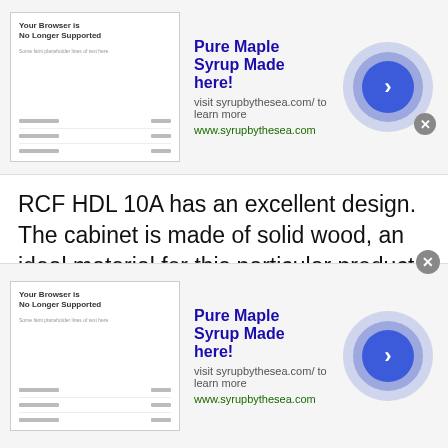[Figure (screenshot): Top advertisement banner for Pure Maple Syrup with thumbnail, headline, subtext, URL, and arrow button]
RCF HDL 10A has an excellent design. The cabinet is made of solid wood, an ideal material for this particular product because it's capable to produce great sound. The surface is treated with a special black satin varnish.
A two-layer speaker membrane, made of kraft paper and cotton, combined with the vented pole piece, makes for powerful bass
[Figure (screenshot): Bottom advertisement banner for Pure Maple Syrup with thumbnail, headline, subtext, URL, and arrow button]